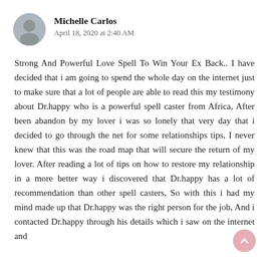[Figure (photo): Circular avatar photo of Michelle Carlos]
Michelle Carlos
April 18, 2020 at 2:40 AM
Strong And Powerful Love Spell To Win Your Ex Back.. I have decided that i am going to spend the whole day on the internet just to make sure that a lot of people are able to read this my testimony about Dr.happy who is a powerful spell caster from Africa, After been abandon by my lover i was so lonely that very day that i decided to go through the net for some relationships tips, I never knew that this was the road map that will secure the return of my lover. After reading a lot of tips on how to restore my relationship in a more better way i discovered that Dr.happy has a lot of recommendation than other spell casters, So with this i had my mind made up that Dr.happy was the right person for the job, And i contacted Dr.happy through his details which i saw on the internet and